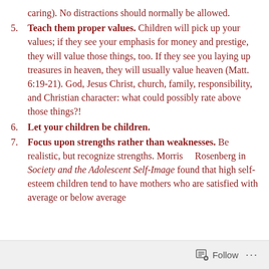caring). No distractions should normally be allowed.
5. Teach them proper values. Children will pick up your values; if they see your emphasis for money and prestige, they will value those things, too. If they see you laying up treasures in heaven, they will usually value heaven (Matt. 6:19-21). God, Jesus Christ, church, family, responsibility, and Christian character: what could possibly rate above those things?!
6. Let your children be children.
7. Focus upon strengths rather than weaknesses. Be realistic, but recognize strengths. Morris Rosenberg in Society and the Adolescent Self-Image found that high self-esteem children tend to have mothers who are satisfied with average or below average
Follow